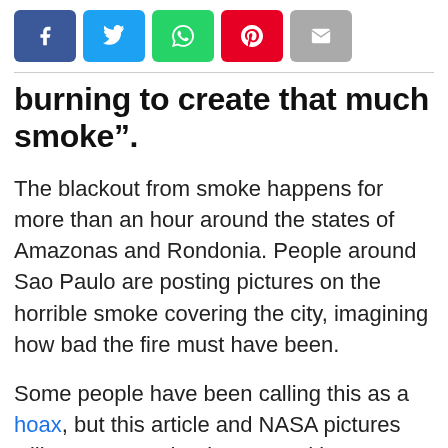[Figure (other): Social media sharing buttons: Facebook (blue), Twitter (light blue), WhatsApp (green), Pinterest (red), Email (gray)]
burning to create that much smoke”.
The blackout from smoke happens for more than an hour around the states of Amazonas and Rondonia. People around Sao Paulo are posting pictures on the horrible smoke covering the city, imagining how bad the fire must have been.
Some people have been calling this as a hoax, but this article and NASA pictures will assure you that it’s not and it’s a serious issue.